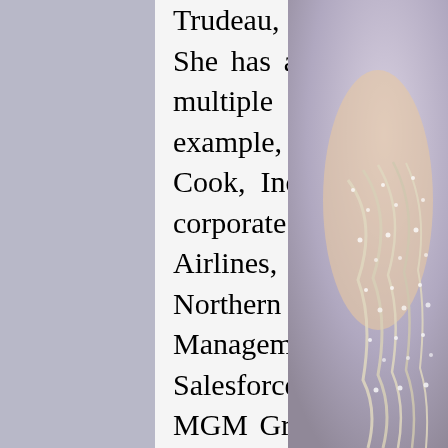Trudeau, Bill Gates, Jack Ma, and Michael Bloomberg. She has also showcased her musical talent in front of multiple preeminent leaders of our generation, for example, President Barack Obama, Anna Wintour, Tim Cook, Indra Nooyi, and Cindy Crawford. Her list of corporate clients is comprised of Apple, Google, United Airlines, Ferrari, Uniqlo, Illinois DuPage County, Northern Trust, Morgan Stanley, Allegiance Benefit Plan Management, Noodoe Technology, Wells Fargo, Salesforce, Ecolab, Hutchison Whampoa Limited, MGM Grand, Caesars Entertainment, Meijer, Mitsuwa, Martell, Blue Moon, Argo Tea, Brita, and Presence Health, etc. She was also chosen to be the tourism ambassador for the State of Florida and starred in the 2018 Visit Florida video series. She also served as the spokesperson for Illinois' Dupage County. Her generous heart has made her partner with lots of great non-profit organizations, for instance,
[Figure (photo): Partial view of a woman in a sparkling/rhinestone embellished outfit, visible on the right side of the page]